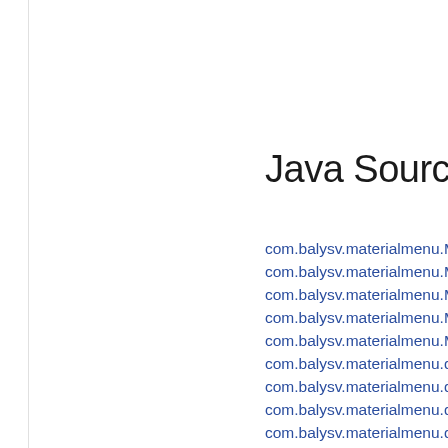Java Source C
com.balysv.materialmenu.Ma
com.balysv.materialmenu.Ma
com.balysv.materialmenu.Ma
com.balysv.materialmenu.Ma
com.balysv.materialmenu.Ma
com.balysv.materialmenu.de
com.balysv.materialmenu.de
com.balysv.materialmenu.de
com.balysv.materialmenu.de
com.balysv.materialmenu.de
com.balysv.materialmenu.de
com.balysv.materialmenu.de
com.balysv.materialmenu.de
com.balysv.materialmenu.de
com.balysv.materialmenu.de
com.balysv.materialmenu.ext